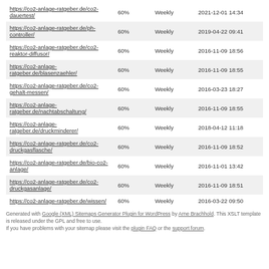| https://co2-anlage-ratgeber.de/co2-dauertest/ | 60% | Weekly | 2021-12-01 14:34 |
| https://co2-anlage-ratgeber.de/ph-controller/ | 60% | Weekly | 2019-04-22 09:41 |
| https://co2-anlage-ratgeber.de/co2-reaktor-diffusor/ | 60% | Weekly | 2016-11-09 18:56 |
| https://co2-anlage-ratgeber.de/blasenzaehler/ | 60% | Weekly | 2016-11-09 18:55 |
| https://co2-anlage-ratgeber.de/co2-gehalt-messen/ | 60% | Weekly | 2016-03-23 18:27 |
| https://co2-anlage-ratgeber.de/nachtabschaltung/ | 60% | Weekly | 2016-11-09 18:55 |
| https://co2-anlage-ratgeber.de/druckminderer/ | 60% | Weekly | 2018-04-12 11:18 |
| https://co2-anlage-ratgeber.de/co2-druckgasflasche/ | 60% | Weekly | 2016-11-09 18:52 |
| https://co2-anlage-ratgeber.de/bio-co2-anlage/ | 60% | Weekly | 2016-11-01 13:42 |
| https://co2-anlage-ratgeber.de/co2-druckgasanlage/ | 60% | Weekly | 2016-11-09 18:51 |
| https://co2-anlage-ratgeber.de/wissen/ | 60% | Weekly | 2016-03-22 09:50 |
Generated with Google (XML) Sitemaps Generator Plugin for WordPress by Arne Brachhold. This XSLT template is released under the GPL and free to use. If you have problems with your sitemap please visit the plugin FAQ or the support forum.